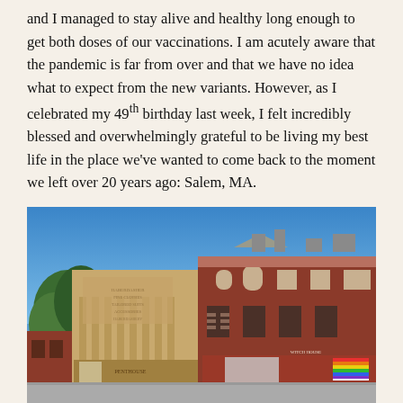and I managed to stay alive and healthy long enough to get both doses of our vaccinations. I am acutely aware that the pandemic is far from over and that we have no idea what to expect from the new variants. However, as I celebrated my 49th birthday last week, I felt incredibly blessed and overwhelmingly grateful to be living my best life in the place we've wanted to come back to the moment we left over 20 years ago: Salem, MA.
[Figure (photo): Street-level photograph of historic brick and tan commercial buildings in Salem, MA under a clear blue sky. Trees are visible on the left side. One building has faded painted signage. A rainbow pride flag is visible in the lower right storefront window.]